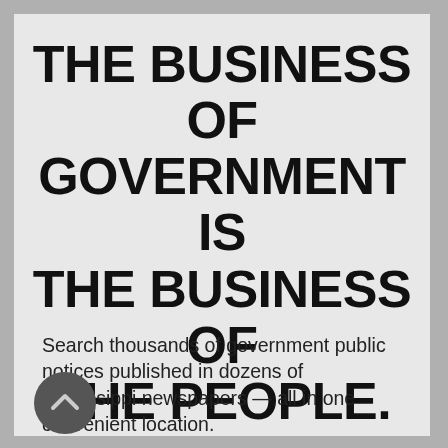THE BUSINESS OF GOVERNMENT IS THE BUSINESS OF THE PEOPLE.
Search thousands of government public notices published in dozens of Mississippi newspapers — all in one convenient location.